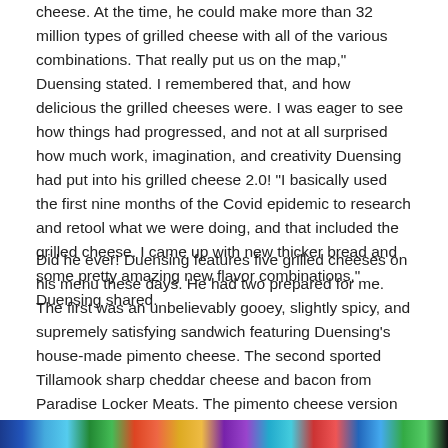cheese. At the time, he could make more than 32 million types of grilled cheese with all of the various combinations. That really put us on the map," Duensing stated. I remembered that, and how delicious the grilled cheeses were. I was eager to see how things had progressed, and not at all surprised how much work, imagination, and creativity Duensing had put into his grilled cheese 2.0! "I basically used the first nine months of the Covid epidemic to research and retool what we were doing, and that included the grilled cheese. I came up with new thicker bread and some pretty amazing new flavor combinations," Duensing shared.
Did he ever! Duensing features five grilled cheeses on his menu these days. He had two prepared for me. The first was an unbelievably gooey, slightly spicy, and supremely satisfying sandwich featuring Duensing's house-made pimento cheese. The second sported Tillamook sharp cheddar cheese and bacon from Paradise Locker Meats. The pimento cheese version was great, and a definite house favorite, but the combination of Tillamook, which is one of my favorite cheese producers, and the Paradise bacon, one of my favorite local butchers, was over-the-top terrific! I can't wait to return.
[Figure (photo): Colorful image strip at the bottom of the page showing food or restaurant images]